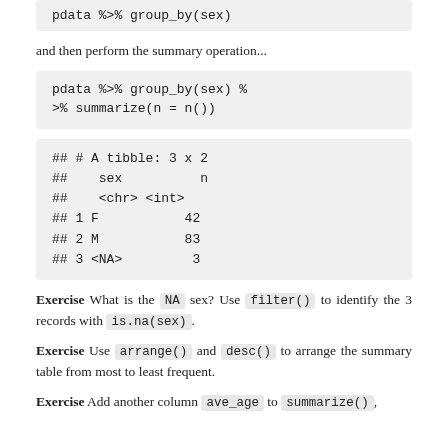pdata %>% group_by(sex)
and then perform the summary operation...
pdata %>% group_by(sex) %>% summarize(n = n())
## # A tibble: 3 x 2
##    sex         n
##    <chr> <int>
## 1 F            42
## 2 M            83
## 3 <NA>          3
Exercise What is the NA sex? Use filter() to identify the 3 records with is.na(sex).
Exercise Use arrange() and desc() to arrange the summary table from most to least frequent.
Exercise Add another column ave_age to summarize(),